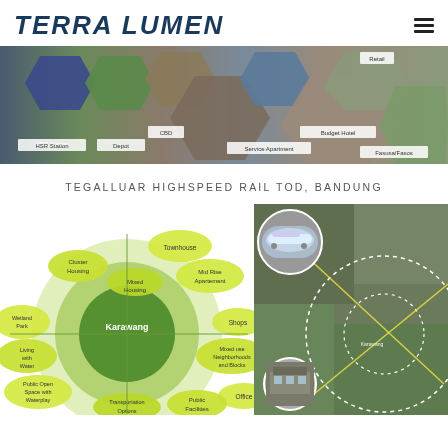TERRA LUMEN
[Figure (infographic): Banner showing hexagonal photo collage of transit-oriented development types: HSR Station, Depot, CBD, Business Hotel, Retail, Budget Hotel, Service Apartment, Fasusa/Fasos]
TEGALLUAR HIGHSPEED RAIL TOD, BANDUNG
[Figure (infographic): Circular diagram showing Karawang TOD components: Townhouse, Cluster Housing, Mid Rise Apartement, Mixed Housing, Shops, Mixed use Neighborhoods and Blocks, Office, Public Facilities, Transportation Options, High end, Wetland Park, Living with Water, Public Open Space with Waterplay]
[Figure (map): Aerial/satellite map of TOD site with dotted circle boundaries and yellow lines showing radius zones, with inset photos of high speed rail and depot]